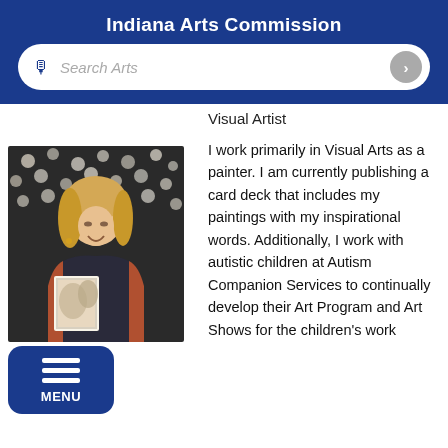Indiana Arts Commission
[Figure (screenshot): Search bar with microphone icon and arrow button on blue background]
Visual Artist
[Figure (photo): Woman smiling, holding a painting, standing in front of a floral background, wearing a dark apron and rust-colored jacket]
[Figure (other): Blue menu button with three horizontal lines and MENU label]
I work primarily in Visual Arts as a painter. I am currently publishing a card deck that includes my paintings with my inspirational words. Additionally, I work with autistic children at Autism Companion Services to continually develop their Art Program and Art Shows for the children's work